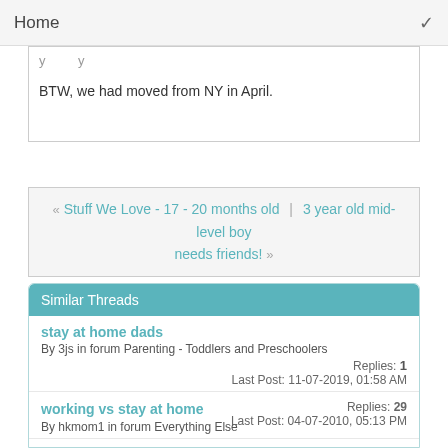Home
BTW, we had moved from NY in April.
« Stuff We Love - 17 - 20 months old | 3 year old mid-level boy needs friends! »
Similar Threads
stay at home dads
By 3js in forum Parenting - Toddlers and Preschoolers
Replies: 1
Last Post: 11-07-2019, 01:58 AM
working vs stay at home
By hkmom1 in forum Everything Else
Replies: 29
Last Post: 04-07-2010, 05:13 PM
adjusting as a stay-home-mom
By purple1 in forum Everything Else
Replies: 14
Last Post: 03-26-2019, 11:10 PM